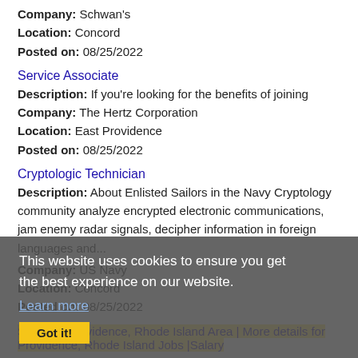Company: Schwan's
Location: Concord
Posted on: 08/25/2022
Service Associate
Description: If you're looking for the benefits of joining
Company: The Hertz Corporation
Location: East Providence
Posted on: 08/25/2022
Cryptologic Technician
Description: About Enlisted Sailors in the Navy Cryptology community analyze encrypted electronic communications, jam enemy radar signals, decipher information in foreign languages and...
Company: US Navy
Location: Concord
Posted on: 08/25/2022
This website uses cookies to ensure you get the best experience on our website.
Learn more
Got it!
Salary in Providence, Rhode Island Area | More details for Providence, Rhode Island Jobs |Salary
Hiring CDL-A Truck Drivers in East Providence, RI
Description: Hiring CDL Company Drivers in East Providence, RI